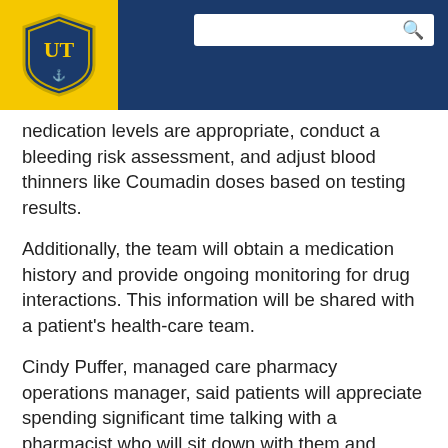[Figure (logo): University of Toledo (UT) shield logo in blue and gold, on yellow background]
medication levels are appropriate, conduct a bleeding risk assessment, and adjust blood thinners like Coumadin doses based on testing results.
Additionally, the team will obtain a medication history and provide ongoing monitoring for drug interactions. This information will be shared with a patient’s health-care team.
Cindy Puffer, managed care pharmacy operations manager, said patients will appreciate spending significant time talking with a pharmacist who will sit down with them and monitor not only their anti-coagulation medication, but all other medications as well.